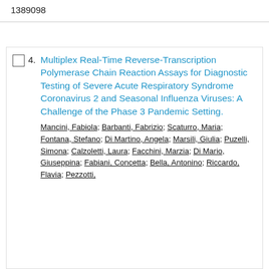1389098
4. Multiplex Real-Time Reverse-Transcription Polymerase Chain Reaction Assays for Diagnostic Testing of Severe Acute Respiratory Syndrome Coronavirus 2 and Seasonal Influenza Viruses: A Challenge of the Phase 3 Pandemic Setting. Mancini, Fabiola; Barbanti, Fabrizio; Scaturro, Maria; Fontana, Stefano; Di Martino, Angela; Marsili, Giulia; Puzelli, Simona; Calzoletti, Laura; Facchini, Marzia; Di Mario, Giuseppina; Fabiani, Concetta; Bella, Antonino; Riccardo, Flavia; Pezzotti,